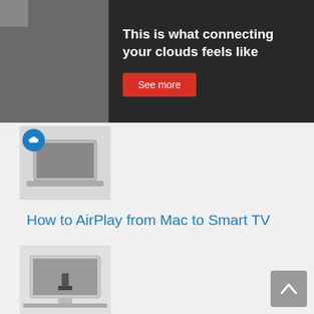[Figure (screenshot): Advertisement banner with dark background showing text 'This is what connecting your clouds feels like' with a red 'See more' button]
[Figure (photo): Thumbnail image of a laptop with a cloud icon, related to cloud connectivity article]
How to AirPlay from Mac to Smart TV
[Figure (photo): Thumbnail image of a laptop with an HDMI splitter/cable connected]
Using an HDMI Splitter to Extend Displays on a Mac. Possible?
[Figure (photo): Thumbnail image of a smartphone with 5G branding on a pink background]
Does 5G Drain iPhone Battery Faster?